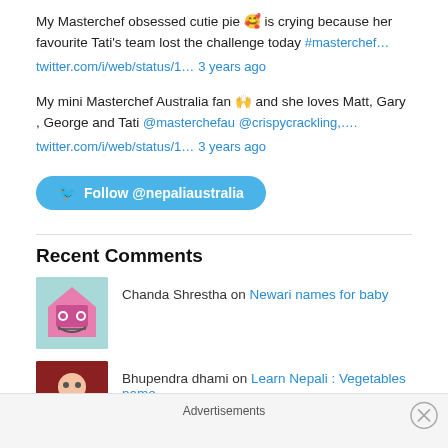My Masterchef obsessed cutie pie 🥰 is crying because her favourite Tati's team lost the challenge today #masterchef…
twitter.com/i/web/status/1… 3 years ago
My mini Masterchef Australia fan 🙌 and she loves Matt, Gary , George and Tati @masterchefau @crispycrackling,….
twitter.com/i/web/status/1… 3 years ago
Follow @nepaliaustralia
Recent Comments
Chanda Shrestha on Newari names for baby
Bhupendra dhami on Learn Nepali : Vegetables name
Advertisements